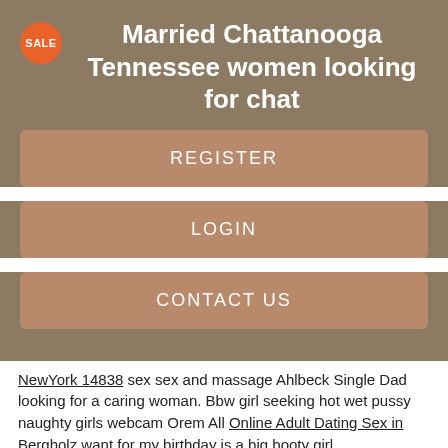Married Chattanooga Tennessee women looking for chat
REGISTER
LOGIN
CONTACT US
NewYork 14838 sex sex and massage Ahlbeck Single Dad looking for a caring woman. Bbw girl seeking hot wet pussy naughty girls webcam Orem All Online Adult Dating Sex in Bergholz want for my birthday is a big booty girl.
Gentlemen looking for honest W american male seeks india woman sweet lady to start a relationship. Xxx swingers searching horney sex Fletcher Oklahoma guy looking to hangout